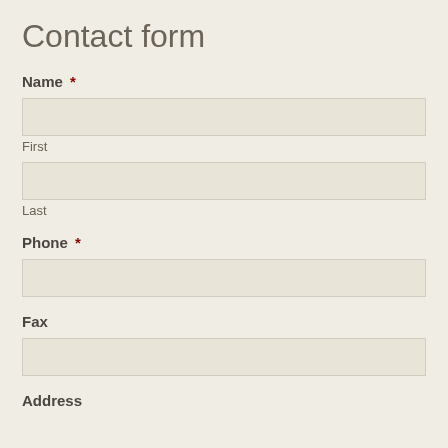Contact form
Name *
First
Last
Phone *
Fax
Address